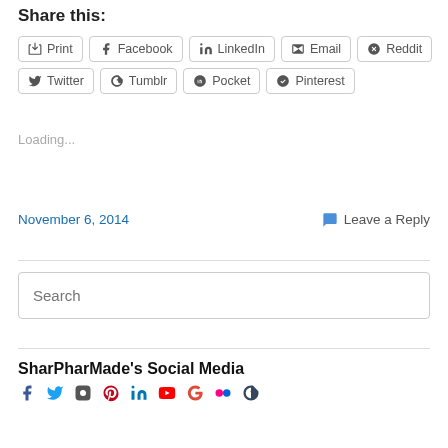Share this:
Print
Facebook
LinkedIn
Email
Reddit
Twitter
Tumblr
Pocket
Pinterest
Loading...
November 6, 2014
Leave a Reply
Search
SharPharMade's Social Media